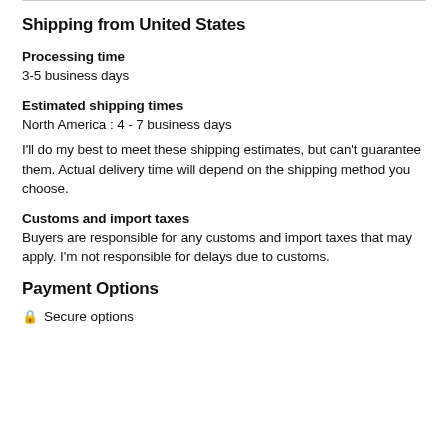Shipping from United States
Processing time
3-5 business days
Estimated shipping times
North America : 4 - 7 business days
I'll do my best to meet these shipping estimates, but can't guarantee them. Actual delivery time will depend on the shipping method you choose.
Customs and import taxes
Buyers are responsible for any customs and import taxes that may apply. I'm not responsible for delays due to customs.
Payment Options
🔒 Secure options